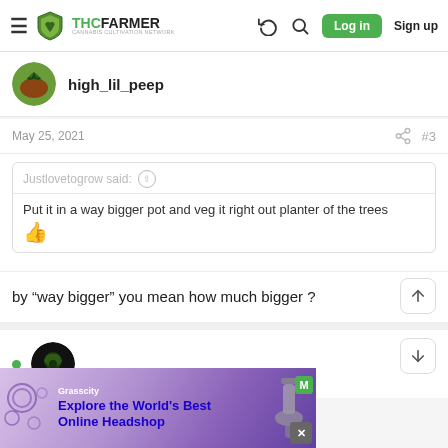THC FARMER - Cannabis Cultivation Network | Log in | Sign up
high_lil_peep
May 25, 2021  #3
Justlovetogrow said: Put it in a way bigger pot and veg it right out planter of the trees 👍
by “way bigger” you mean how much bigger ?
[Figure (photo): Next user avatar (dark green cannabis-themed profile picture)]
Explore the World's Best Online Headshop - Grasscity advertisement